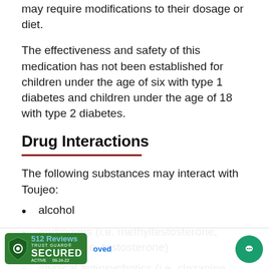may require modifications to their dosage or diet.
The effectiveness and safety of this medication has not been established for children under the age of six with type 1 diabetes and children under the age of 18 with type 2 diabetes.
Drug Interactions
The following substances may interact with Toujeo:
alcohol
androgens (i.e. methyltestosterone, nandrolone, testosterone)
atypical antipsychotics (i.e. clozapine, quetiapine, risperidone)
beta-blockers (i.e. atenolol, metoprolol,